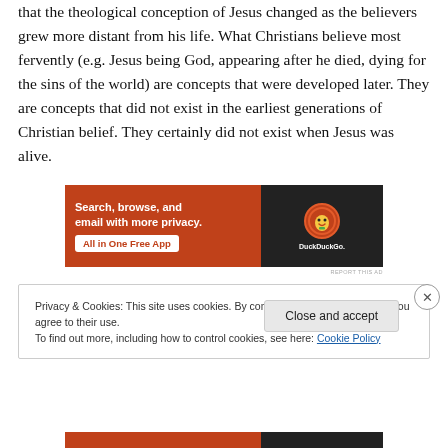that the theological conception of Jesus changed as the believers grew more distant from his life. What Christians believe most fervently (e.g. Jesus being God, appearing after he died, dying for the sins of the world) are concepts that were developed later. They are concepts that did not exist in the earliest generations of Christian belief. They certainly did not exist when Jesus was alive.
[Figure (screenshot): DuckDuckGo advertisement banner: orange left panel with text 'Search, browse, and email with more privacy. All in One Free App' and dark right panel with DuckDuckGo duck logo and brand name.]
REPORT THIS AD
Privacy & Cookies: This site uses cookies. By continuing to use this website, you agree to their use.
To find out more, including how to control cookies, see here: Cookie Policy
Close and accept